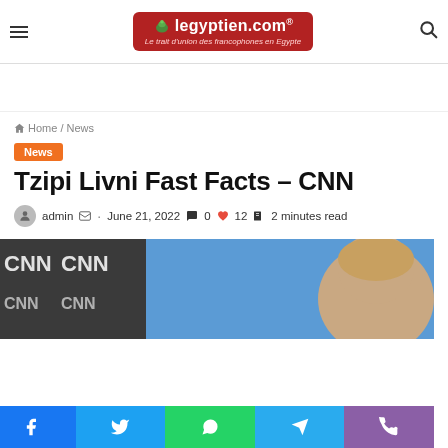legyptien.com® — Le trait d'union des francophones en Egypte
Home / News
News
Tzipi Livni Fast Facts – CNN
admin · June 21, 2022 · 0 · 12 · 2 minutes read
[Figure (photo): Photo of Tzipi Livni in front of CNN blue backdrop with CNN logos visible on left side]
[Figure (infographic): Social sharing bar with Facebook, Twitter, WhatsApp, Telegram, and phone/Viber buttons]